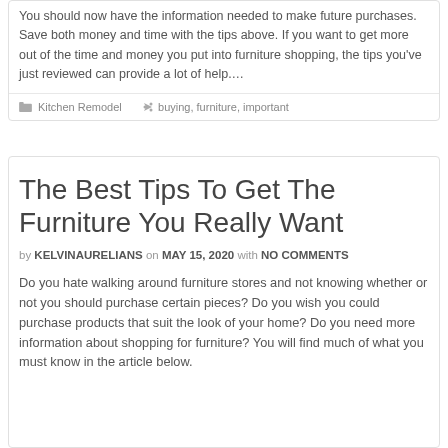You should now have the information needed to make future purchases. Save both money and time with the tips above. If you want to get more out of the time and money you put into furniture shopping, the tips you've just reviewed can provide a lot of help….
Kitchen Remodel  buying, furniture, important
The Best Tips To Get The Furniture You Really Want
by KELVINAURELIANS on MAY 15, 2020 with NO COMMENTS
Do you hate walking around furniture stores and not knowing whether or not you should purchase certain pieces? Do you wish you could purchase products that suit the look of your home? Do you need more information about shopping for furniture? You will find much of what you must know in the article below.